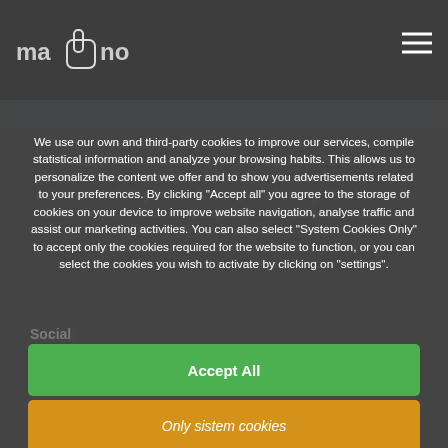[Figure (logo): Mano logo with hand icon in top left, hamburger menu icon in top right, on dark gray header bar]
We use our own and third-party cookies to improve our services, compile statistical information and analyze your browsing habits. This allows us to personalize the content we offer and to show you advertisements related to your preferences. By clicking "Accept all" you agree to the storage of cookies on your device to improve website navigation, analyse traffic and assist our marketing activities. You can also select "System Cookies Only" to accept only the cookies required for the website to function, or you can select the cookies you wish to activate by clicking on "settings".
Social
Accept All
Only sistem cookies
Configuration